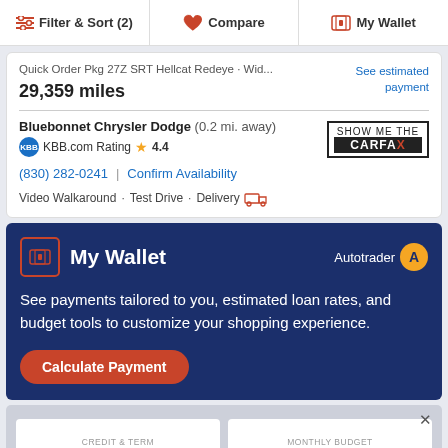Filter & Sort (2) | Compare | My Wallet
Quick Order Pkg 27Z SRT Hellcat Redeye · Wid...
See estimated payment
29,359 miles
Bluebonnet Chrysler Dodge (0.2 mi. away) KBB.com Rating 4.4
(830) 282-0241 | Confirm Availability
Video Walkaround · Test Drive · Delivery
My Wallet
See payments tailored to you, estimated loan rates, and budget tools to customize your shopping experience.
Calculate Payment
CREDIT & TERM
MONTHLY BUDGET